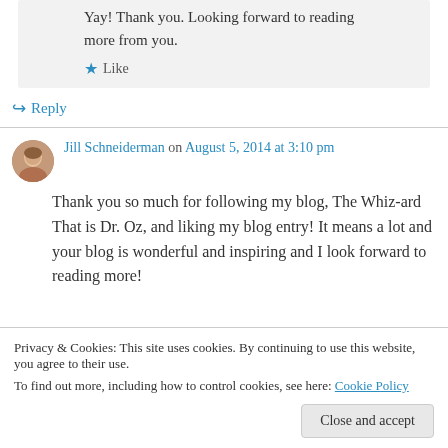Yay! Thank you. Looking forward to reading more from you.
★ Like
↪ Reply
Jill Schneiderman on August 5, 2014 at 3:10 pm
Thank you so much for following my blog, The Whiz-ard That is Dr. Oz, and liking my blog entry! It means a lot and your blog is wonderful and inspiring and I look forward to reading more!
Privacy & Cookies: This site uses cookies. By continuing to use this website, you agree to their use.
To find out more, including how to control cookies, see here: Cookie Policy
Close and accept